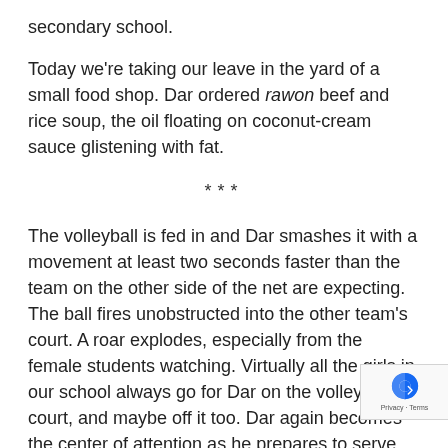secondary school.
Today we're taking our leave in the yard of a small food shop. Dar ordered rawon beef and rice soup, the oil floating on coconut-cream sauce glistening with fat.
***
The volleyball is fed in and Dar smashes it with a movement at least two seconds faster than the team on the other side of the net are expecting. The ball fires unobstructed into the other team's court. A roar explodes, especially from the female students watching. Virtually all the girls in our school always go for Dar on the volleyball court, and maybe off it too. Dar again becomes the center of attention as he prepares to serve. But this time, we have to wait as someone calls him off the court. A cry of disappointment goes up from a group of students. The person calling Dar off is someone we all well. Along with two of his friends, this person often takes us